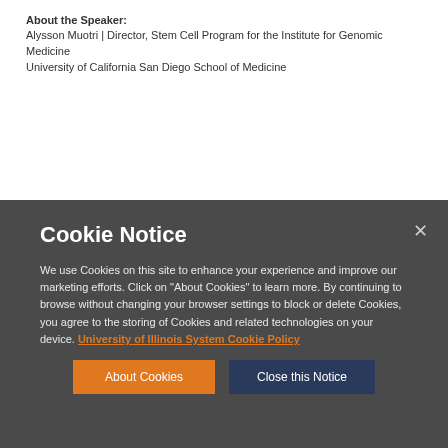About the Speaker: Alysson Muotri | Director, Stem Cell Program for the Institute for Genomic Medicine University of California San Diego School of Medicine
Cookie Notice

We use Cookies on this site to enhance your experience and improve our marketing efforts. Click on "About Cookies" to learn more. By continuing to browse without changing your browser settings to block or delete Cookies, you agree to the storing of Cookies and related technologies on your device. University of Illinois System Cookie Policy